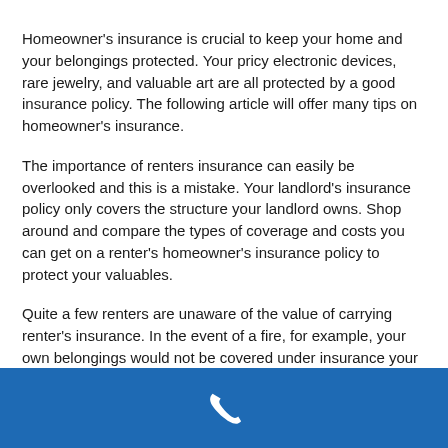Homeowner's insurance is crucial to keep your home and your belongings protected. Your pricy electronic devices, rare jewelry, and valuable art are all protected by a good insurance policy. The following article will offer many tips on homeowner's insurance.
The importance of renters insurance can easily be overlooked and this is a mistake. Your landlord's insurance policy only covers the structure your landlord owns. Shop around and compare the types of coverage and costs you can get on a renter's homeowner's insurance policy to protect your valuables.
Quite a few renters are unaware of the value of carrying renter's insurance. In the event of a fire, for example, your own belongings would not be covered under insurance your landlord carries. You need to get your own policy to cover your stuff in the event of a fire, flood, or even burglary.
Before you talk to your claims representative, get some estimates on your damages. Ensure that every piece of documentation has been completed so that you can prevent extra losses. If you are
[Figure (other): Blue footer bar with white phone handset icon]